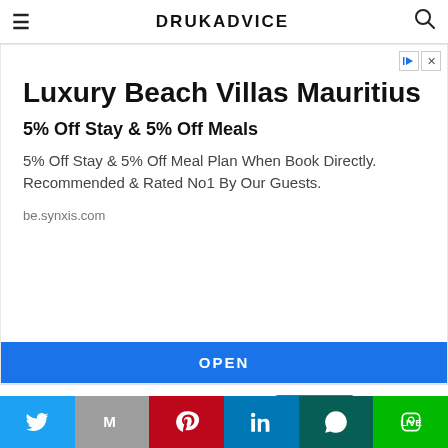DRUKADVICE
[Figure (other): Advertisement banner: Luxury Beach Villas Mauritius. 5% Off Stay & 5% Off Meals. 5% Off Stay & 5% Off Meal Plan When Book Directly. Recommended & Rated No1 By Our Guests. be.synxis.com. OPEN button.]
This website uses cookies.
[Figure (other): Social sharing bar with Twitter, Gmail, Pinterest, LinkedIn, WhatsApp, and Line buttons]